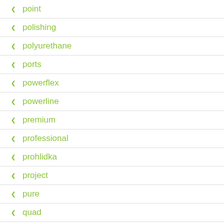point
polishing
polyurethane
ports
powerflex
powerline
premium
professional
prohlidka
project
pure
quad